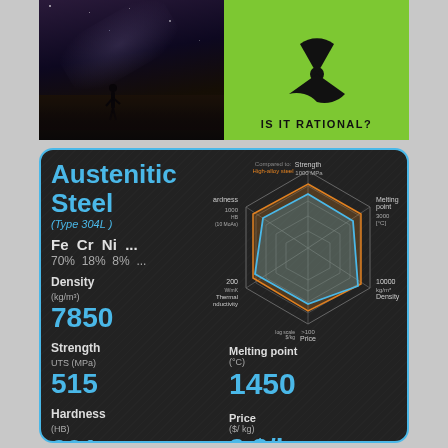[Figure (photo): Night sky silhouette photo - person standing on rocks under milky way galaxy]
[Figure (infographic): Green background with black radiation/nuclear hazard symbol and text 'IS IT RATIONAL?']
[Figure (radar-chart): Radar/spider chart showing material properties of Austenitic Steel (Type 304L) compared to another material. Axes: Strength (1000 MPa), Melting point (3000 C), Density (10000 kg/m3), Price (log scale $/kg), Thermal Conductivity (200 W/mK), Hardness (1000 HB 10 MoAs). Blue outline for Austenitic Steel, orange for comparison material.]
Austenitic Steel (Type 304L ) Fe Cr Ni ... 70% 18% 8% ...
Density (kg/m³) 7850
Strength UTS (MPa) 515
Hardness (HB) 201
Thermal conductivity (W/m.K) 20
Melting point (°C) 1450
Price ($/kg) 2 $/kg